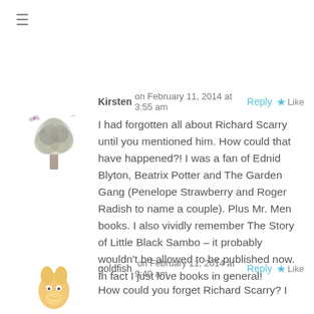[Figure (other): Hamburger menu icon (three horizontal lines)]
[Figure (illustration): Decorative tree avatar for user Kirsten]
Kirsten on February 11, 2014 at 3:55 am   Reply  Like
I had forgotten all about Richard Scarry until you mentioned him. How could that have happened?! I was a fan of Ednid Blyton, Beatrix Potter and The Garden Gang (Penelope Strawberry and Roger Radish to name a couple). Plus Mr. Men books. I also vividly remember The Story of Little Black Sambo – it probably wouldn't be allowed to be published now. In fact I just love books in general!
[Figure (illustration): Goldfish cartoon avatar for user goldfish]
goldfish on February 11, 2014 at 9:40 am   Reply  Like
How could you forget Richard Scarry? I